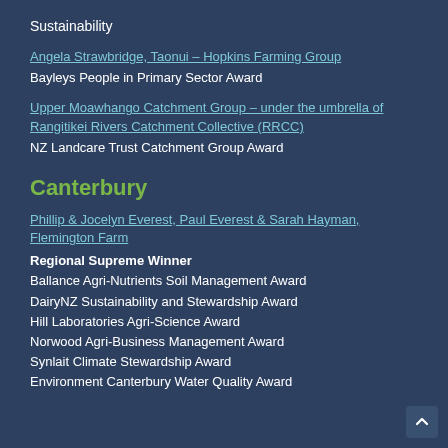Sustainability
Angela Strawbridge, Taonui – Hopkins Farming Group
Bayleys People in Primary Sector Award
Upper Moawhango Catchment Group – under the umbrella of Rangitikei Rivers Catchment Collective (RRCC)
NZ Landcare Trust Catchment Group Award
Canterbury
Phillip & Jocelyn Everest, Paul Everest & Sarah Hayman, Flemington Farm
Regional Supreme Winner
Ballance Agri-Nutrients Soil Management Award
DairyNZ Sustainability and Stewardship Award
Hill Laboratories Agri-Science Award
Norwood Agri-Business Management Award
Synlait Climate Stewardship Award
Environment Canterbury Water Quality Award